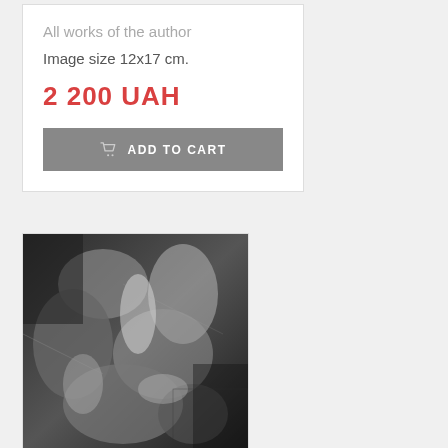All works of the author
Image size 12x17 cm.
2 200 UAH
ADD TO CART
[Figure (photo): Black and white artistic photograph showing multiple figures in a dramatic, upside-down composition]